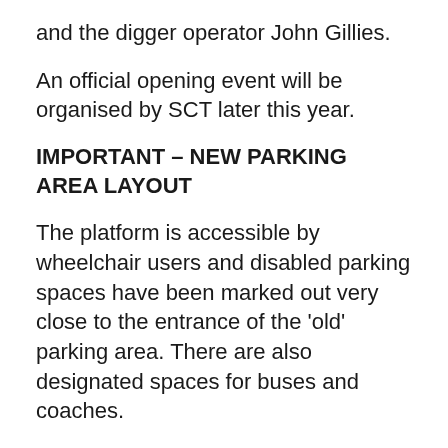and the digger operator John Gillies.
An official opening event will be organised by SCT later this year.
IMPORTANT – NEW PARKING AREA LAYOUT
The platform is accessible by wheelchair users and disabled parking spaces have been marked out very close to the entrance of the 'old' parking area. There are also designated spaces for buses and coaches.
The new upper car park is designed